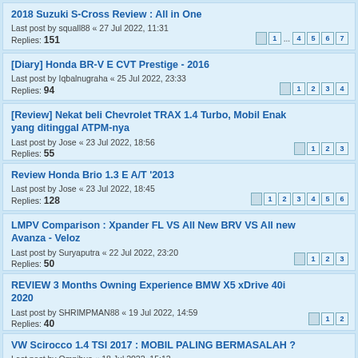2018 Suzuki S-Cross Review : All in One
Last post by squall88 « 27 Jul 2022, 11:31
Replies: 151
[Diary] Honda BR-V E CVT Prestige - 2016
Last post by Iqbalnugraha « 25 Jul 2022, 23:33
Replies: 94
[Review] Nekat beli Chevrolet TRAX 1.4 Turbo, Mobil Enak yang ditinggal ATPM-nya
Last post by Jose « 23 Jul 2022, 18:56
Replies: 55
Review Honda Brio 1.3 E A/T '2013
Last post by Jose « 23 Jul 2022, 18:45
Replies: 128
LMPV Comparison : Xpander FL VS All New BRV VS All new Avanza - Veloz
Last post by Suryaputra « 22 Jul 2022, 23:20
Replies: 50
REVIEW 3 Months Owning Experience BMW X5 xDrive 40i 2020
Last post by SHRIMPMAN88 « 19 Jul 2022, 14:59
Replies: 40
VW Scirocco 1.4 TSI 2017 : MOBIL PALING BERMASALAH ?
Last post by Omnibus « 18 Jul 2022, 15:12
Replies: 68